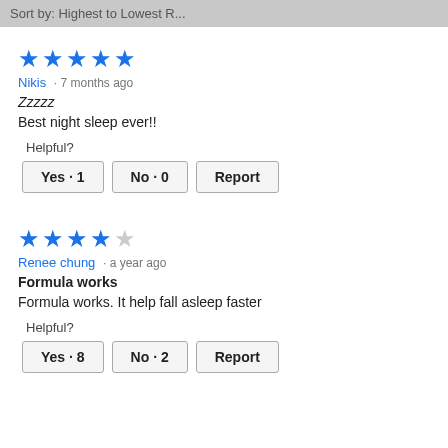Sort by: Highest to Lowest R...
[Figure (other): 5 out of 5 stars rating (5 blue stars)]
Nikis · 7 months ago
Zzzzz
Best night sleep ever!!
Helpful?
Yes · 1   No · 0   Report
[Figure (other): 4 out of 5 stars rating (4 blue stars, 1 gray star)]
Renee chung · a year ago
Formula works
Formula works. It help fall asleep faster
Helpful?
Yes · 8   No · 2   Report